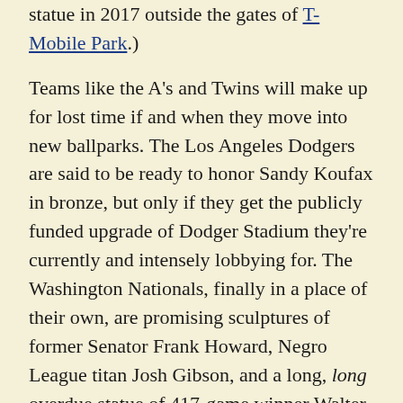statue in 2017 outside the gates of T-Mobile Park.)
Teams like the A's and Twins will make up for lost time if and when they move into new ballparks. The Los Angeles Dodgers are said to be ready to honor Sandy Koufax in bronze, but only if they get the publicly funded upgrade of Dodger Stadium they're currently and intensely lobbying for. The Washington Nationals, finally in a place of their own, are promising sculptures of former Senator Frank Howard, Negro League titan Josh Gibson, and a long, long overdue statue of 417-game winner Walter Johnson.
Some ballparks play it prudently, and wisely so. Cleveland's Progressive Field has a single sculpture, of Bob Feller. Milwaukee's Miller Park has Hank Aaron and Robin Yount and leave it at that. But other parks can't help themselves. We already mentioned the White Sox, who have seven. Detroit has seven as well. Then there's St. Louis' Busch Stadium, where I lost count of the tally around 10... and that doesn't include the one of Mark